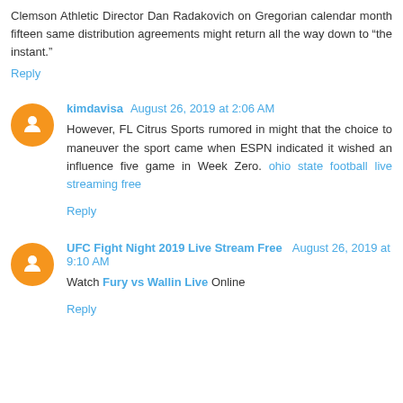Clemson Athletic Director Dan Radakovich on Gregorian calendar month fifteen same distribution agreements might return all the way down to “the instant.”
Reply
kimdavisa  August 26, 2019 at 2:06 AM
However, FL Citrus Sports rumored in might that the choice to maneuver the sport came when ESPN indicated it wished an influence five game in Week Zero. ohio state football live streaming free
Reply
UFC Fight Night 2019 Live Stream Free  August 26, 2019 at 9:10 AM
Watch Fury vs Wallin Live Online
Reply